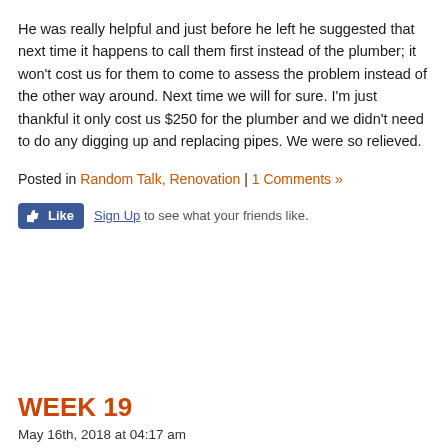He was really helpful and just before he left he suggested that next time it happens to call them first instead of the plumber; it won't cost us for them to come to assess the problem instead of the other way around. Next time we will for sure. I'm just thankful it only cost us $250 for the plumber and we didn't need to do any digging up and replacing pipes. We were so relieved.
Posted in Random Talk, Renovation | 1 Comments »
[Figure (other): Facebook Like button with 'Sign Up to see what your friends like.' text]
WEEK 19
May 16th, 2018 at 04:17 am